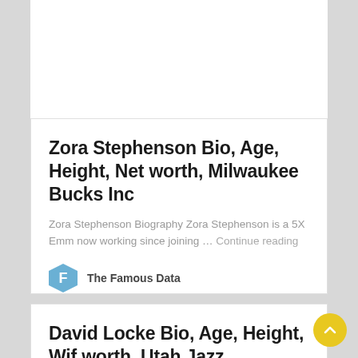Zora Stephenson Bio, Age, Height, Net worth, Milwaukee Bucks Inc
Zora Stephenson Biography Zora Stephenson is a 5X Emm now working since joining … Continue reading
The Famous Data
David Locke Bio, Age, Height, Wife, Net worth, Utah Jazz